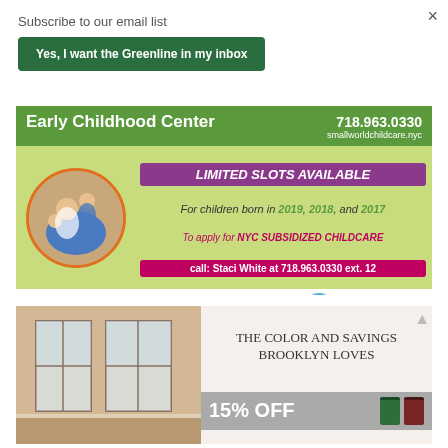×
Subscribe to our email list
Yes, I want the Greenline in my inbox
[Figure (illustration): Early Childhood Center advertisement for Small World Early Childhood Center. Green header with title 'Early Childhood Center', phone 718.963.0330, smallworldchildcare.nyc. Circular photo of caregiver with children. Text: LIMITED SLOTS AVAILABLE (purple box), For children born in 2019, 2018, and 2017, To apply for NYC SUBSIDIZED CHILDCARE call: Staci White at 718.963.0330 ext. 12. Footer with St. Nicks Alliance and Small World Early Childhood Center logos.]
[Figure (illustration): Paint advertisement showing a room with windows on the left and text 'THE COLOR AND SAVINGS BROOKLYN LOVES' on the right with '15% OFF' in large text and two paint cans.]